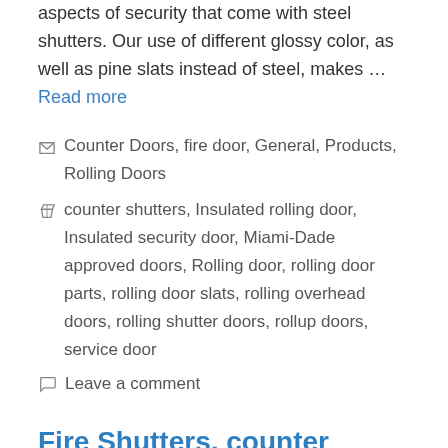aspects of security that come with steel shutters. Our use of different glossy color, as well as pine slats instead of steel, makes … Read more
Counter Doors, fire door, General, Products, Rolling Doors
counter shutters, Insulated rolling door, Insulated security door, Miami-Dade approved doors, Rolling door, rolling door parts, rolling door slats, rolling overhead doors, rolling shutter doors, rollup doors, service door
Leave a comment
Fire Shutters, counter